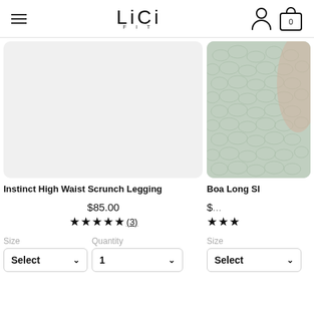LiCi FIT — navigation header with hamburger menu, logo, user icon, cart icon (0 items)
[Figure (photo): Light gray product image placeholder for Instinct High Waist Scrunch Legging]
Instinct High Waist Scrunch Legging
$85.00
★★★★★ (3)
Size   Select ∨     Quantity   1 ∨
[Figure (photo): Mint/teal snake-print fabric product image for Boa Long S[leeve] — partially visible on right side]
Boa Long Sl...
$...
★★★... — partial stars visible
Size   Select ∨